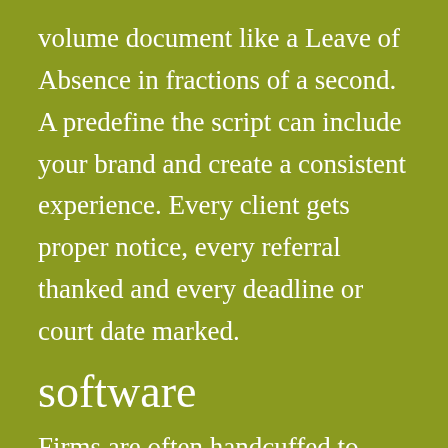volume document like a Leave of Absence in fractions of a second. A predefine the script can include your brand and create a consistent experience. Every client gets proper notice, every referral thanked and every deadline or court date marked.
software
Firms are often handcuffed to Windows and expensive servers because of case management software. Most only use thirty percent it's capacity. Popular products like Amicus Attorney, TimeSlips or Time Matters